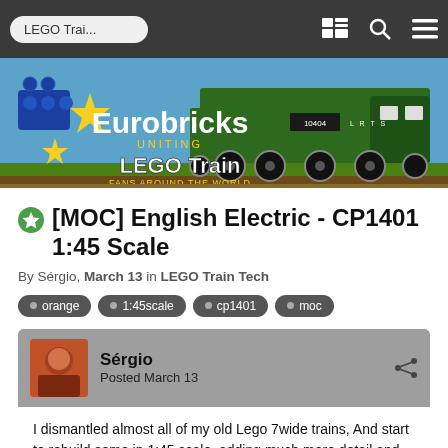LEGO Trai...
[Figure (illustration): Eurobricks LEGO Train banner with a green steam locomotive, LEGO bricks, stars, and text reading 'Eurobricks UNITING LEGO Train FANS AROUND THE WORLD']
[MOC] English Electric - CP1401 1:45 Scale
By Sérgio, March 13 in LEGO Train Tech
orange
1:45scale
cp1401
moc
Sérgio
Posted March 13
I dismantled almost all of my old Lego 7wide trains, And start to rebuild some in 1:45 scale, adding much more detail and shape than before.
this is an 8 wide model, I don't know how many parts are in